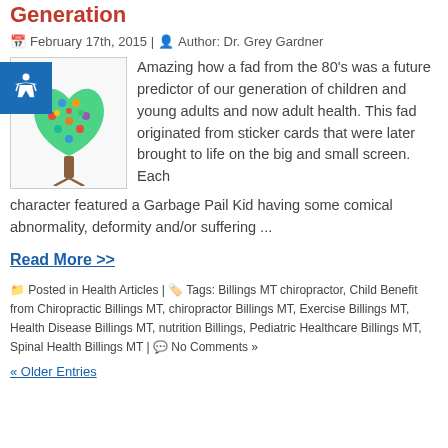Generation
February 17th, 2015 | Author: Dr. Grey Gardner
[Figure (illustration): Heart-shaped tree made of colorful figures/people icons on green background, with brown trunk and roots]
Amazing how a fad from the 80's was a future predictor of our generation of children and young adults and now adult health.  This fad originated from sticker cards that were later brought to life on the big and small screen.  Each character featured a Garbage Pail Kid having some comical abnormality, deformity and/or suffering ...
Read More >>
Posted in Health Articles | Tags: Billings MT chiropractor, Child Benefit from Chiropractic Billings MT, chiropractor Billings MT, Exercise Billings MT, Health Disease Billings MT, nutrition Billings, Pediatric Healthcare Billings MT, Spinal Health Billings MT | No Comments »
« Older Entries